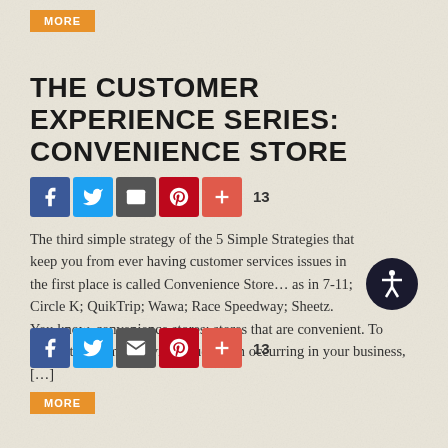MORE
THE CUSTOMER EXPERIENCE SERIES: CONVENIENCE STORE
[Figure (infographic): Social sharing buttons: Facebook (blue), Twitter (blue), Email (dark gray), Pinterest (red), Plus/Share (red-orange), share count 13]
The third simple strategy of the 5 Simple Strategies that keep you from ever having customer services issues in the first place is called Convenience Store… as in 7-11; Circle K; QuikTrip; Wawa; Race Speedway; Sheetz. You know, convenience stores; stores that are convenient. To prevent customer service issues from occurring in your business, […]
[Figure (infographic): Social sharing buttons: Facebook (blue), Twitter (blue), Email (dark gray), Pinterest (red), Plus/Share (red-orange), share count 13]
MORE